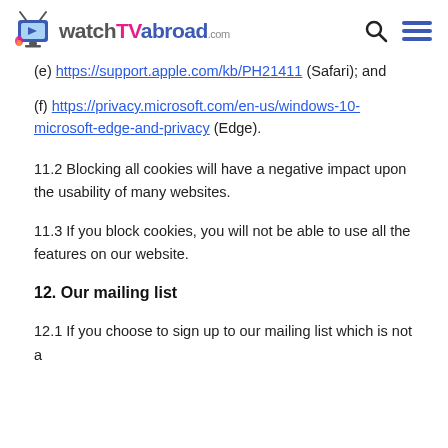watchTVabroad.com
(e) https://support.apple.com/kb/PH21411 (Safari); and
(f) https://privacy.microsoft.com/en-us/windows-10-microsoft-edge-and-privacy (Edge).
11.2 Blocking all cookies will have a negative impact upon the usability of many websites.
11.3 If you block cookies, you will not be able to use all the features on our website.
12. Our mailing list
12.1 If you choose to sign up to our mailing list which is not a